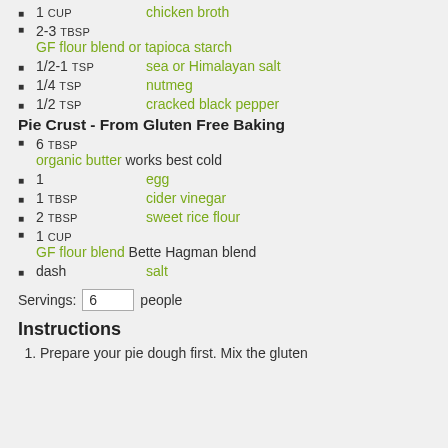1 cup   chicken broth
2-3 TBSP   GF flour blend or tapioca starch
1/2-1 tsp   sea or Himalayan salt
1/4 tsp   nutmeg
1/2 tsp   cracked black pepper
Pie Crust - From Gluten Free Baking
6 TBSP   organic butter works best cold
1   egg
1 TBSP   cider vinegar
2 TBSP   sweet rice flour
1 cup   GF flour blend Bette Hagman blend
dash   salt
Servings: 6 people
Instructions
1. Prepare your pie dough first. Mix the gluten